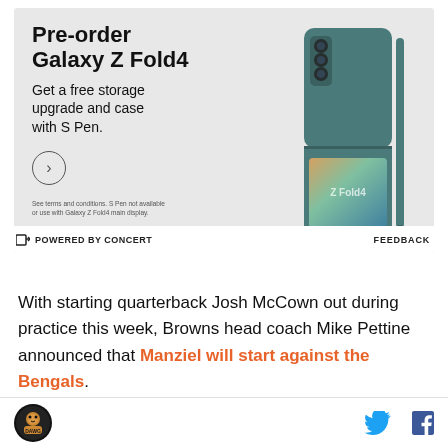[Figure (other): Samsung Galaxy Z Fold4 advertisement. Shows product image of teal/green foldable phone with S Pen. Ad text: 'Pre-order Galaxy Z Fold4 - Get a free storage upgrade and case with S Pen.' Fine print below. Powered by Concert label and Feedback link at bottom.]
With starting quarterback Josh McCown out during practice this week, Browns head coach Mike Pettine announced that Manziel will start against the Bengals.
[Figure (other): Orange vertical bar indicating start of a quote block]
Site logo icon, Twitter bird icon, Facebook f icon